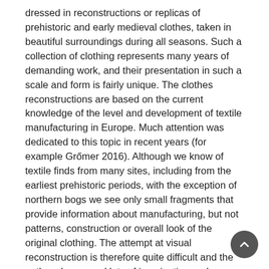dressed in reconstructions or replicas of prehistoric and early medieval clothes, taken in beautiful surroundings during all seasons. Such a collection of clothing represents many years of demanding work, and their presentation in such a scale and form is fairly unique. The clothes reconstructions are based on the current knowledge of the level and development of textile manufacturing in Europe. Much attention was dedicated to this topic in recent years (for example Grőmer 2016). Although we know of textile finds from many sites, including from the earliest prehistoric periods, with the exception of northern bogs we see only small fragments that provide information about manufacturing, but not patterns, construction or overall look of the original clothing. The attempt at visual reconstruction is therefore quite difficult and the authors have used lots of imagination and courage. Although we do not need to agree with all the presented ensembles, the authors of the reconstructions have presented a whole range of possibilities based on their knowledge of the available textile materials, technologies and tools. To me, this is the greatest contribution of the publication. So although the authors have aimed their work at the wider public, in their work they have followed strictly scientific findings and facts, so the reconstructions are, to a certain degree, of their inspiration, with...